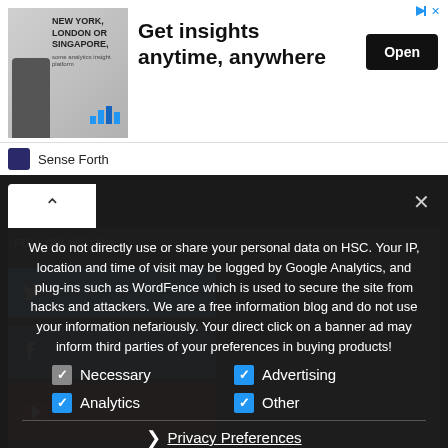[Figure (screenshot): Advertisement banner for Sense Forth showing 'Get insights anytime, anywhere' with an Open button]
We do not directly use or share your personal data on HSC. Your IP, location and time of visit may be logged by Google Analytics, and plug-ins such as WordFence which is used to secure the site from hacks and attackers. We are a free information blog and do not use your information nefariously. Your direct click on a banner ad may inform third parties of your preferences in buying products!
Necessary
Advertising
Analytics
Other
Privacy Preferences
I Agree